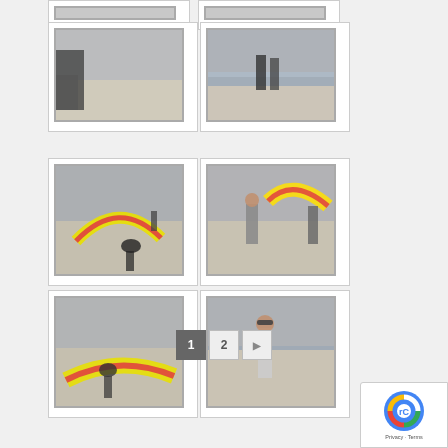[Figure (photo): Beach scene with fog and sand, vehicle partially visible on left]
[Figure (photo): Two people standing on a foggy beach near the ocean]
[Figure (photo): Person with colorful kite on sandy beach, another person in background]
[Figure (photo): Two people on beach with colorful yellow-red kite]
[Figure (photo): Person laying out colorful kite on sand at beach]
[Figure (photo): Person with sunglasses standing on foggy beach near ocean]
1 2 ▶